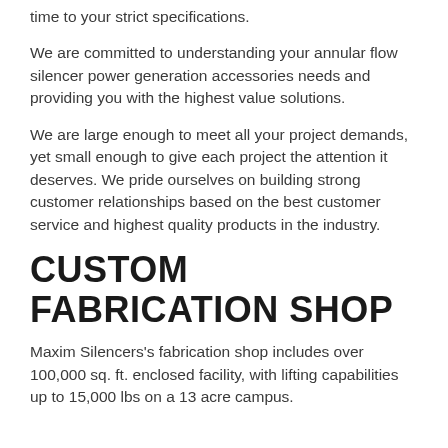time to your strict specifications.
We are committed to understanding your annular flow silencer power generation accessories needs and providing you with the highest value solutions.
We are large enough to meet all your project demands, yet small enough to give each project the attention it deserves. We pride ourselves on building strong customer relationships based on the best customer service and highest quality products in the industry.
CUSTOM FABRICATION SHOP
Maxim Silencers's fabrication shop includes over 100,000 sq. ft. enclosed facility, with lifting capabilities up to 15,000 lbs on a 13 acre campus.